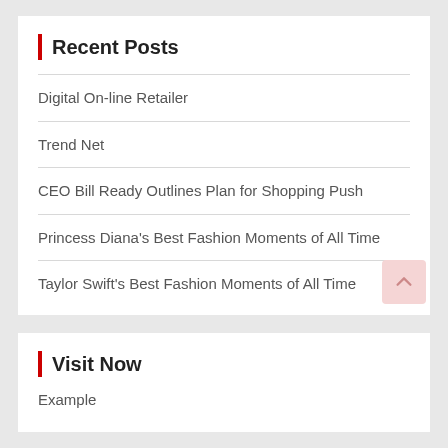Recent Posts
Digital On-line Retailer
Trend Net
CEO Bill Ready Outlines Plan for Shopping Push
Princess Diana's Best Fashion Moments of All Time
Taylor Swift's Best Fashion Moments of All Time
Visit Now
Example
Bl